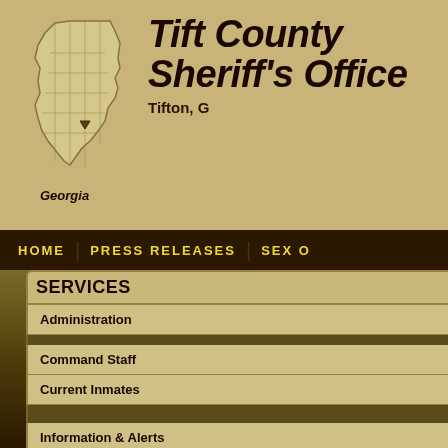[Figure (logo): Georgia state outline map illustration with 'Georgia' label beneath]
Tift County Sheriff's Office  Tifton, G[eorgia]
HOME   PRESS RELEASES   SEX O[ffender Registry]
SERVICES
Administration
Command Staff
Current Inmates
Information & Alerts
Investigations
10/09/2018
Hurricane Michael Prepare[dness]
Hurr[icane Michael]
Tift County elected officials and [staff met] today at the Emergency Operatio[ns Center] Service as Hurricane Michael ap[proaches.]
Tift County offices, except for pu[blic safety,] Thursday and this includes all re[lated offices.]
At 4 O'clock Tuesday the County [was placed] in a State of Emergency.  Beginn[ing Wednesday] Management Agency will activat[e] of Hurricane Michael hitting [the area.]